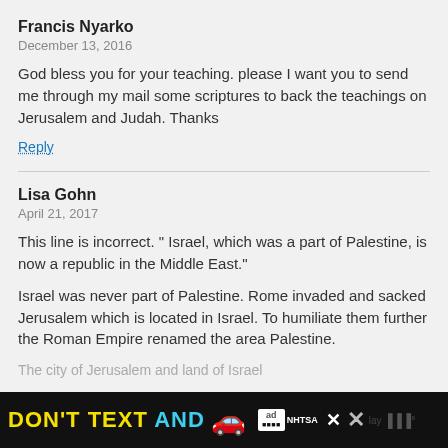Francis Nyarko
December 13, 2016
God bless you for your teaching. please I want you to send me through my mail some scriptures to back the teachings on Jerusalem and Judah. Thanks
Reply
Lisa Gohn
April 21, 2017
This line is incorrect. " Israel, which was a part of Palestine, is now a republic in the Middle East."
Israel was never part of Palestine. Rome invaded and sacked Jerusalem which is located in Israel. To humiliate them further the Roman Empire renamed the area Palestine.
The city of Jerusalem and land of Israel
[Figure (infographic): Ad banner: DON'T TEXT AND [car emoji] with ad badge and NHTSA logo on black background]